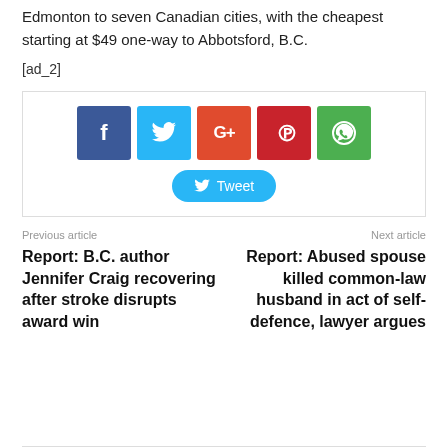Edmonton to seven Canadian cities, with the cheapest starting at $49 one-way to Abbotsford, B.C.
[ad_2]
[Figure (infographic): Social share buttons: Facebook (blue), Twitter (light blue), Google+ (red-orange), Pinterest (dark red), WhatsApp (green), and a Twitter Tweet button below]
Previous article
Next article
Report: B.C. author Jennifer Craig recovering after stroke disrupts award win
Report: Abused spouse killed common-law husband in act of self-defence, lawyer argues